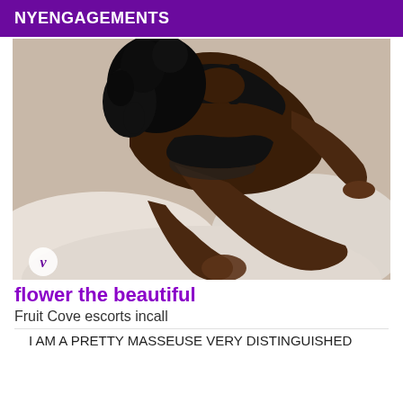NYENGAGEMENTS
[Figure (photo): A woman in black lingerie posed on a white bed, shown from above, cropped photo with a watermark 'v' logo in the bottom left corner.]
flower the beautiful
Fruit Cove escorts incall
I AM A PRETTY MASSEUSE VERY DISTINGUISHED